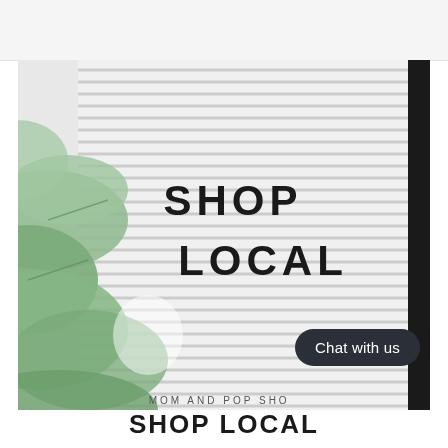[Figure (photo): Close-up photo of a letter board with black letters reading 'SHOP LOCAL' on a white striped background, with green plant leaves in the foreground on the left side. The board has a dark wooden/black frame visible on the right edge.]
Chat with us
MOM AND POP SHOP
SHOP LOCAL